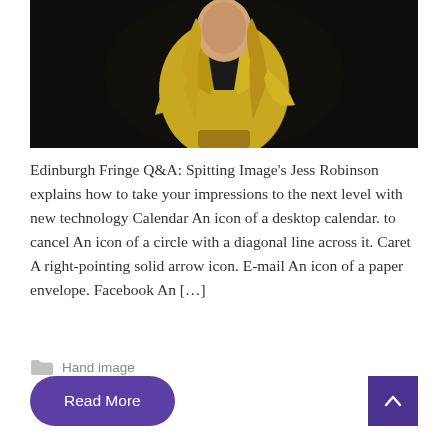[Figure (photo): A person with long blonde hair wearing a yellow jacket, posed on a dark/black background. Upper body and torso visible, dramatic lighting.]
Edinburgh Fringe Q&A: Spitting Image's Jess Robinson explains how to take your impressions to the next level with new technology Calendar An icon of a desktop calendar. to cancel An icon of a circle with a diagonal line across it. Caret A right-pointing solid arrow icon. E-mail An icon of a paper envelope. Facebook An […]
Hand image
Read More